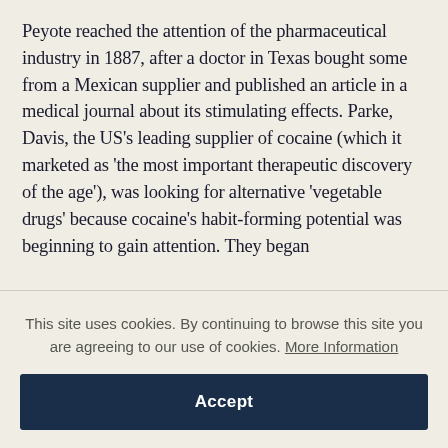Peyote reached the attention of the pharmaceutical industry in 1887, after a doctor in Texas bought some from a Mexican supplier and published an article in a medical journal about its stimulating effects. Parke, Davis, the US's leading supplier of cocaine (which it marketed as 'the most important therapeutic discovery of the age'), was looking for alternative 'vegetable drugs' because cocaine's habit-forming potential was beginning to gain attention. They began
This site uses cookies. By continuing to browse this site you are agreeing to our use of cookies. More Information
Accept